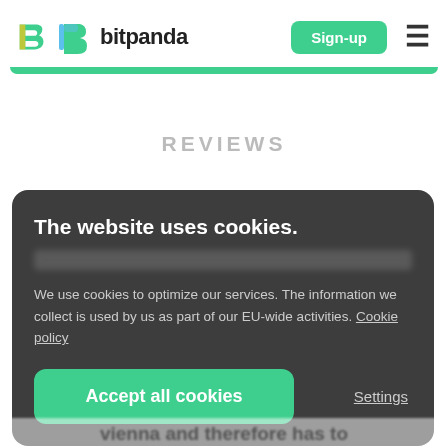bitpanda — Sign-up
[Figure (screenshot): Bitpanda website screenshot showing cookie consent modal overlay. Background shows Reviews heading and blurred page content. Foreground shows dark rounded cookie consent box with title 'The website uses cookies.', body text about EU-wide cookie policy, an 'Accept all cookies' green button, and a 'Settings' link.]
The website uses cookies.
We use cookies to optimize our services. The information we collect is used by us as part of our EU-wide activities. Cookie policy
Accept all cookies
Settings
REVIEWS
vienna and therefore has to